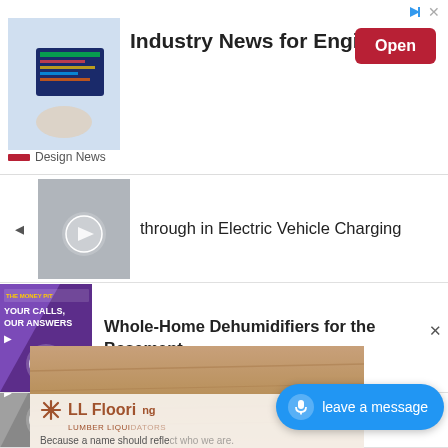[Figure (screenshot): Advertisement banner: Industry News for Engineers by Design News with Open button]
through in Electric Vehicle Charging
Whole-Home Dehumidifiers for the Basement
Home Depot Program Simplifies LEED for Homes
[Figure (screenshot): LL Flooring / Lumber Liquidators advertisement: Because a name should reflect who we are. Flooring is all we do. No lumber. No liquidation.]
leave a message